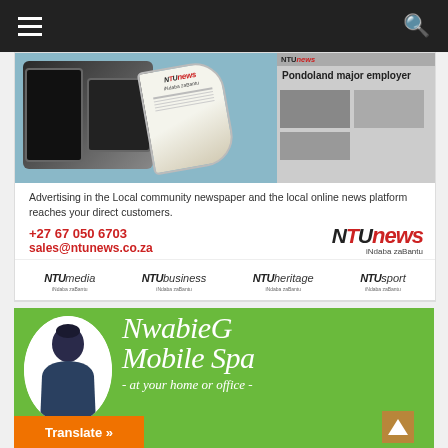Navigation bar with menu and search icons
[Figure (photo): NTU News advertisement banner showing smartphone and tablet devices, a rolled newspaper with NTUnews branding, and newspaper clippings with headline 'Pondoland major employer'. Text: 'Advertising in the Local community newspaper and the local online news platform reaches your direct customers.' Contact: +27 67 050 6703, sales@ntunews.co.za. NTUnews iNdaba zaBantu logo on right.]
Advertising in the Local community newspaper and the local online news platform reaches your direct customers.
+27 67 050 6703
sales@ntunews.co.za
[Figure (logo): NTU news iNdaba zaBantu logo]
[Figure (logo): Sub-brand logos: NTUmedia iNdaba zaBantu, NTUbusiness iNdaba zaBantu, NTUheritage iNdaba zaBantu, NTUsport iNdaba zaBantu]
[Figure (photo): NwabieG Mobile Spa advertisement on green background. Shows a woman in dark uniform inside a white oval. Script text reads 'NwabieG Mobile Spa - at your home or office -'. Orange 'Translate »' button at bottom left.]